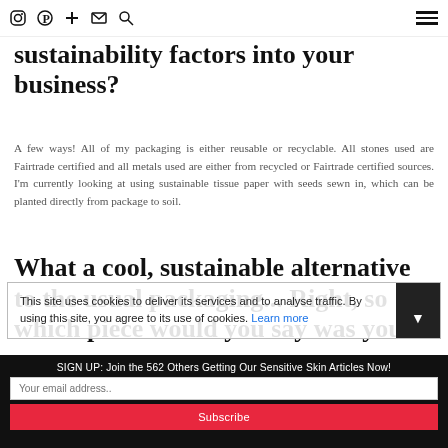Icons: Instagram, Pinterest, Plus, Email, Search, Hamburger menu
sustainability factors into your business?
A few ways! All of my packaging is either reusable or recyclable. All stones used are Fairtrade certified and all metals used are either from recycled or Fairtrade certified sources. I'm currently looking at using sustainable tissue paper with seeds sewn in, which can be planted directly from package to soil.
What a cool, sustainable alternative to the usual packaging... Right, so which piece would you say was you
This site uses cookies to deliver its services and to analyse traffic. By using this site, you agree to its use of cookies. Learn more
SIGN UP: Join the 562 Others Getting Our Sensitive Skin Articles Now!
Your email address..
Subscribe